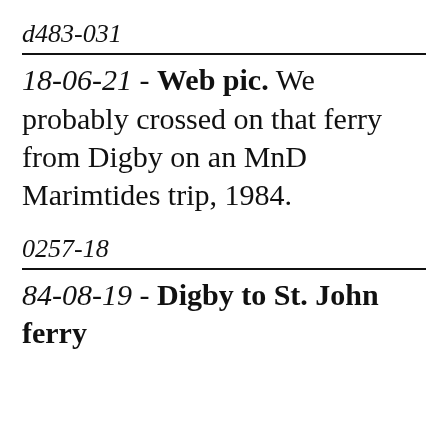d483-031
18-06-21 - Web pic. We probably crossed on that ferry from Digby on an MnD Marimtides trip, 1984.
0257-18
84-08-19 - Digby to St. John ferry